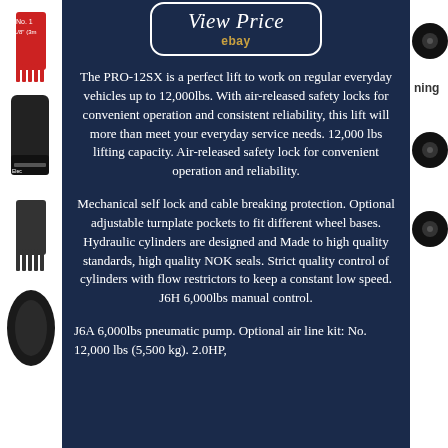[Figure (screenshot): View Price button with ebay logo on dark blue background]
The PRO-12SX is a perfect lift to work on regular everyday vehicles up to 12,000lbs. With air-released safety locks for convenient operation and consistent reliability, this lift will more than meet your everyday service needs. 12,000 lbs lifting capacity. Air-released safety lock for convenient operation and reliability.
Mechanical self lock and cable breaking protection. Optional adjustable turnplate pockets to fit different wheel bases. Hydraulic cylinders are designed and Made to high quality standards, high quality NOK seals. Strict quality control of cylinders with flow restrictors to keep a constant low speed. J6H 6,000lbs manual control.
J6A 6,000lbs pneumatic pump. Optional air line kit: No. 12,000 lbs (5,500 kg). 2.0HP,